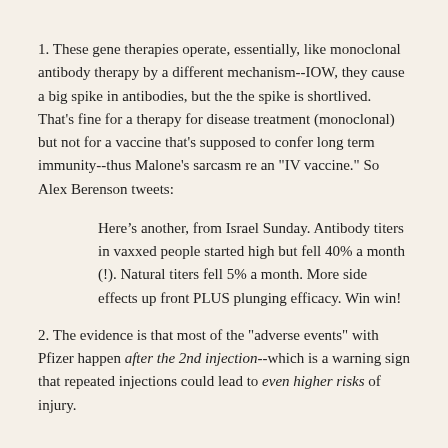1. These gene therapies operate, essentially, like monoclonal antibody therapy by a different mechanism--IOW, they cause a big spike in antibodies, but the the spike is shortlived. That's fine for a therapy for disease treatment (monoclonal) but not for a vaccine that's supposed to confer long term immunity--thus Malone's sarcasm re an "IV vaccine." So Alex Berenson tweets:
Here’s another, from Israel Sunday. Antibody titers in vaxxed people started high but fell 40% a month (!). Natural titers fell 5% a month. More side effects up front PLUS plunging efficacy. Win win!
2. The evidence is that most of the "adverse events" with Pfizer happen after the 2nd injection--which is a warning sign that repeated injections could lead to even higher risks of injury.